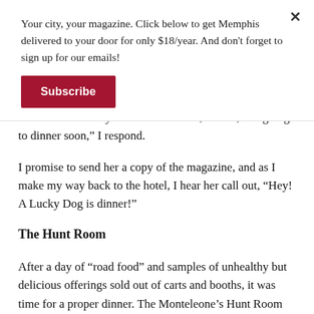Your city, your magazine. Click below to get Memphis delivered to your door for only $18/year. And don't forget to sign up for our emails!
Subscribe
nose twitch and my mouth water. “No, thanks, I’m going to dinner soon,” I respond.
I promise to send her a copy of the magazine, and as I make my way back to the hotel, I hear her call out, “Hey! A Lucky Dog is dinner!”
The Hunt Room
After a day of “road food” and samples of unhealthy but delicious offerings sold out of carts and booths, it was time for a proper dinner. The Monteleone’s Hunt Room had a